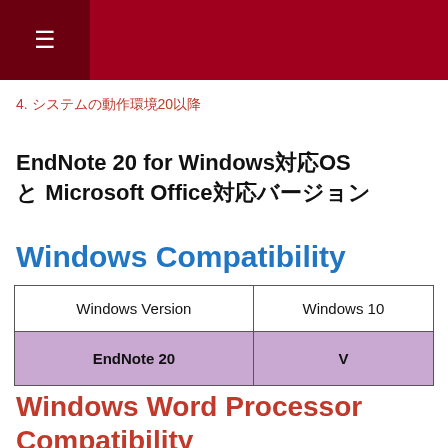≡
4. システムの動作環境20以降
EndNote 20 for Windows対応OS と Microsoft Office対応バージョン
Windows Compatibility
| Windows Version | Windows 10 |
| --- | --- |
| EndNote 20 | V |
Windows Word Processor Compatibility